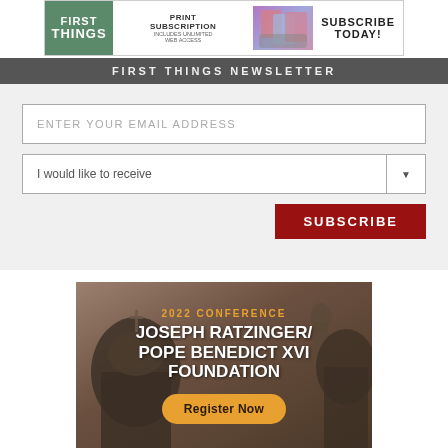[Figure (advertisement): First Things magazine print subscription banner ad with logo, images of magazine on devices, and Subscribe Today text]
FIRST THINGS NEWSLETTER
[Figure (screenshot): Newsletter signup form with email address input field, I would like to receive dropdown, and Subscribe button]
[Figure (advertisement): 2022 Conference Joseph Ratzinger / Pope Benedict XVI Foundation advertisement with cathedral background image and Register Now button]